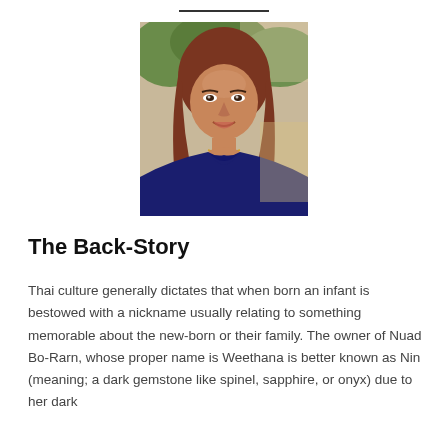[Figure (photo): Portrait photo of a woman with long reddish-brown hair, wearing a dark navy sleeveless top and a gold necklace, smiling, with trees visible in the background.]
The Back-Story
Thai culture generally dictates that when born an infant is bestowed with a nickname usually relating to something memorable about the new-born or their family. The owner of Nuad Bo-Rarn, whose proper name is Weethana is better known as Nin (meaning; a dark gemstone like spinel, sapphire, or onyx) due to her dark